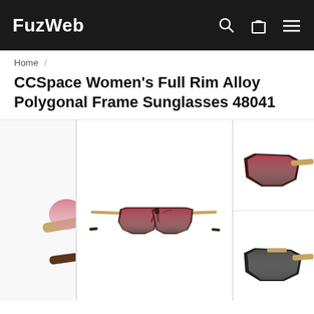FuzWeb
Home /
CCSpace Women's Full Rim Alloy Polygonal Frame Sunglasses 48041
[Figure (photo): Product photo carousel showing CCSpace Women's Full Rim Alloy Polygonal Frame Sunglasses 48041. Center image: front-facing view of dark brown/burgundy polygonal frame sunglasses with pink-tinted gradient lenses and gold bridge. Left partial image: side view of sunglasses showing brown arm. Right partial images: two additional angle views of similar sunglasses styles.]